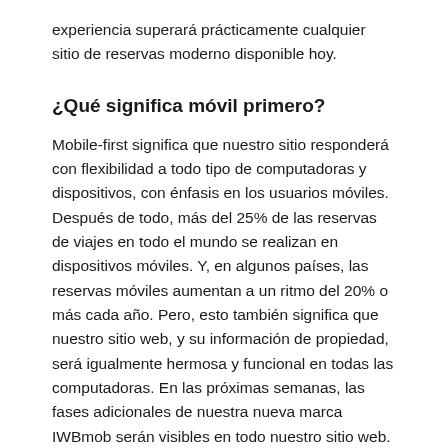experiencia superará prácticamente cualquier sitio de reservas moderno disponible hoy.
¿Qué significa móvil primero?
Mobile-first significa que nuestro sitio responderá con flexibilidad a todo tipo de computadoras y dispositivos, con énfasis en los usuarios móviles. Después de todo, más del 25% de las reservas de viajes en todo el mundo se realizan en dispositivos móviles. Y, en algunos países, las reservas móviles aumentan a un ritmo del 20% o más cada año. Pero, esto también significa que nuestro sitio web, y su información de propiedad, será igualmente hermosa y funcional en todas las computadoras. En las próximas semanas, las fases adicionales de nuestra nueva marca IWBmob serán visibles en todo nuestro sitio web.